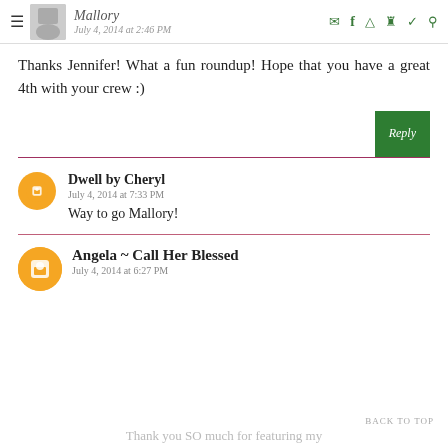Mallory | July 4, 2014 at 2:46 PM
Thanks Jennifer! What a fun roundup! Hope that you have a great 4th with your crew :)
Reply
Dwell by Cheryl
July 4, 2014 at 7:33 PM
Way to go Mallory!
Angela ~ Call Her Blessed
July 4, 2014 at 6:27 PM
Thank you SO much for featuring my
BACK TO TOP